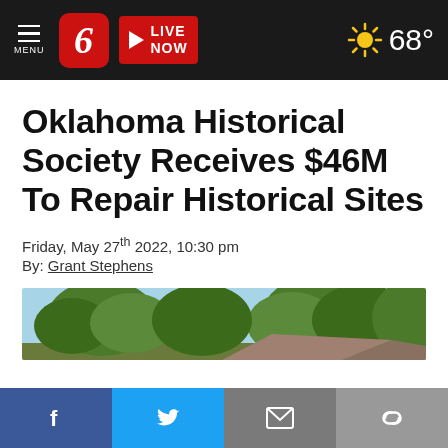MENU | 6 | LIVE NOW | 68°
Oklahoma Historical Society Receives $46M To Repair Historical Sites
Friday, May 27th 2022, 10:30 pm
By: Grant Stephens
[Figure (photo): Outdoor scene with trees against a blue sky, partial view of a building roof in foreground]
Facebook | Twitter | Email | Link social share buttons